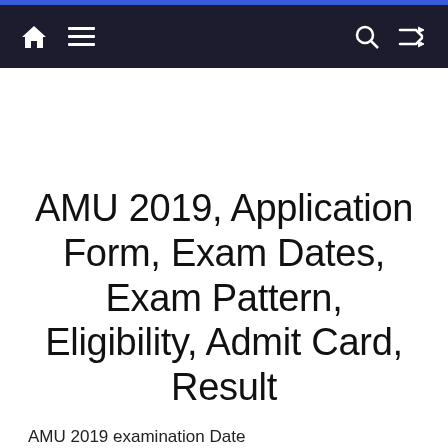Navigation bar with home, menu, search, and shuffle icons
AMU 2019, Application Form, Exam Dates, Exam Pattern, Eligibility, Admit Card, Result
AMU 2019 examination Date (For numerous Courses) has been declared currently. The applying are going